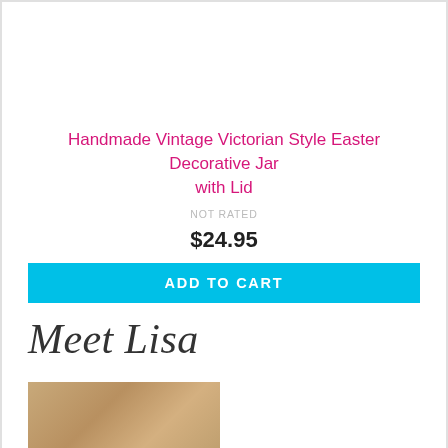Handmade Vintage Victorian Style Easter Decorative Jar with Lid
NOT RATED
$24.95
ADD TO CART
Meet Lisa
[Figure (photo): Photo of Lisa, a woman with blonde hair]